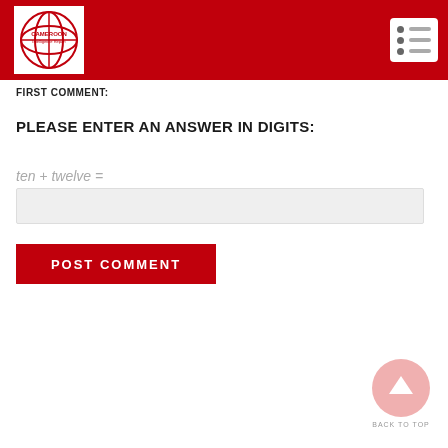[Figure (logo): Cameroon Intelligence Report logo - globe icon with red and white colors, text 'CAMEROON Intelligence Report']
FIRST COMMENT:
PLEASE ENTER AN ANSWER IN DIGITS:
ten + twelve =
POST COMMENT
[Figure (illustration): Back to top button - pink circle with upward arrow, text 'BACK TO TOP' below]